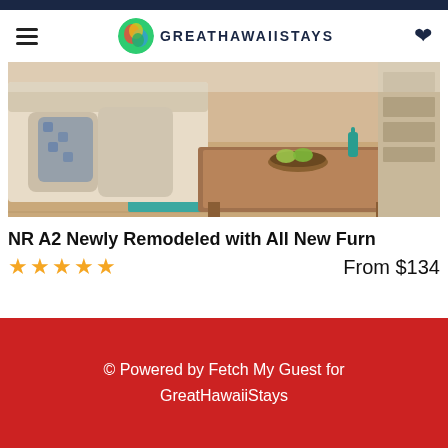GreatHawaiiStays
[Figure (photo): Interior of a remodeled living room with light sofa with patterned pillows, a wooden coffee table, teal area rug, and light wood flooring.]
NR A2 Newly Remodeled with All New Furn
★★★★★  From $134
© Powered by Fetch My Guest for GreatHawaiiStays